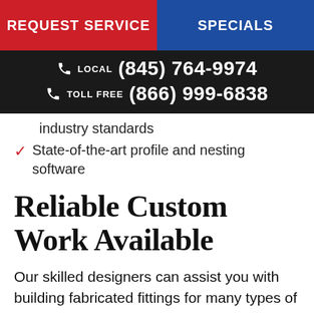REQUEST SERVICE | SPECIALS
LOCAL (845) 764-9974
TOLL FREE (866) 999-6838
industry standards
State-of-the-art profile and nesting software
Reliable Custom Work Available
Our skilled designers can assist you with building fabricated fittings for many types of ducted projects. You'll know the cost of your order before we begin the cutting